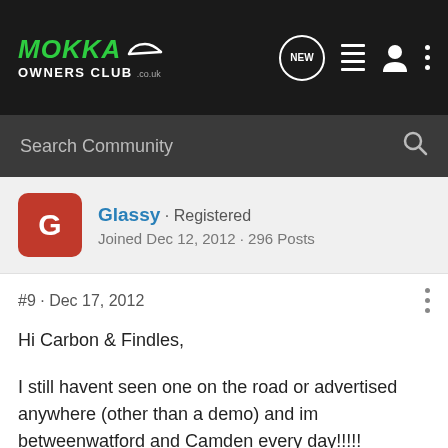MOKKA OWNERS CLUB .co.uk
Search Community
Glassy · Registered
Joined Dec 12, 2012 · 296 Posts
#9 · Dec 17, 2012
Hi Carbon & Findles,
I still havent seen one on the road or advertised anywhere (other than a demo) and im betweenwatford and Camden every day!!!!!
Just as well though as it will be great to be one of the first to